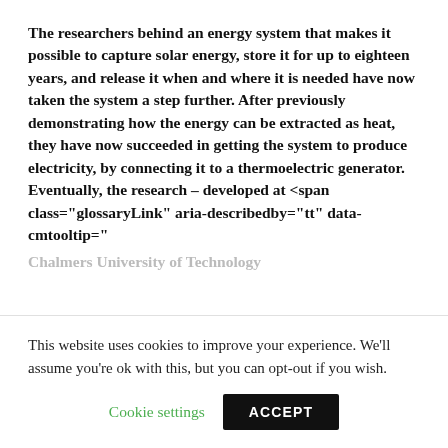The researchers behind an energy system that makes it possible to capture solar energy, store it for up to eighteen years, and release it when and where it is needed have now taken the system a step further. After previously demonstrating how the energy can be extracted as heat, they have now succeeded in getting the system to produce electricity, by connecting it to a thermoelectric generator. Eventually, the research – developed at <span class="glossaryLink" aria-describedby="tt" data-cmtooltip="
Chalmers University of Technology
This website uses cookies to improve your experience. We'll assume you're ok with this, but you can opt-out if you wish.
Cookie settings
ACCEPT